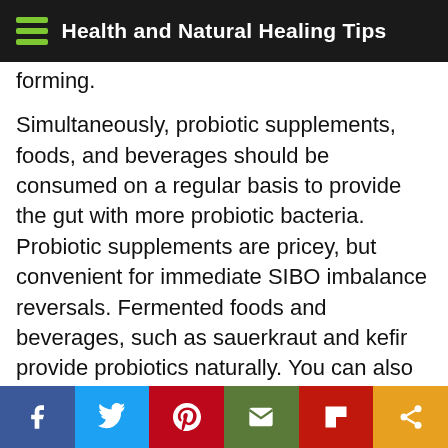Health and Natural Healing Tips
forming.
Simultaneously, probiotic supplements, foods, and beverages should be consumed on a regular basis to provide the gut with more probiotic bacteria. Probiotic supplements are pricey, but convenient for immediate SIBO imbalance reversals. Fermented foods and beverages, such as sauerkraut and kefir provide probiotics naturally. You can also make your own. Other lifestyle aspects of promoting healthy gut bacteria are getting sufficient quality sleep and stressing less.